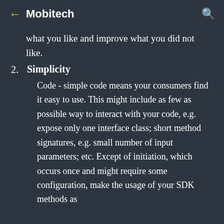← Mobitech 🔍
what you like and improve what you did not like.
2. Simplicity
Code - simple code means your consumers find it easy to use. This might include as few as possible way to interact with your code, e.g. expose only one interface class; short method signatures, e.g. small number of input parameters; etc. Except of initiation, which occurs once and might require some configuration, make the usage of your SDK methods as